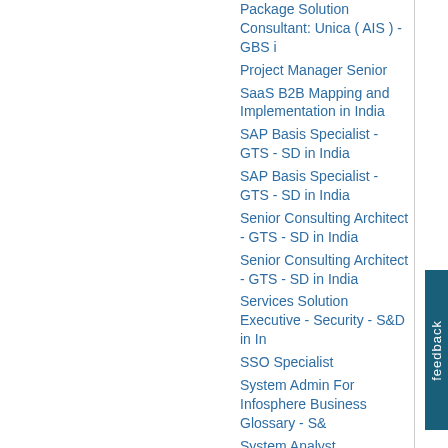Package Solution Consultant: Unica ( AIS ) - GBS i
Project Manager Senior
SaaS B2B Mapping and Implementation in India
SAP Basis Specialist - GTS - SD in India
SAP Basis Specialist - GTS - SD in India
Senior Consulting Architect - GTS - SD in India
Senior Consulting Architect - GTS - SD in India
Services Solution Executive - Security - S&D in In
SSO Specialist
System Admin For Infosphere Business Glossary - S&
System Analyst
Technical Support Representative - Voice Support
Telecom SME Intelligence Network Design & Solution
Web Demand Specialist - S&D in India